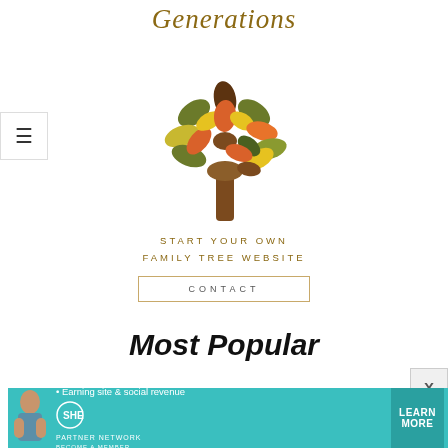Generations
[Figure (illustration): A stylized family tree illustration with colorful autumn leaves in orange, yellow, olive green, dark green, and brown, with a brown trunk]
START YOUR OWN FAMILY TREE WEBSITE
CONTACT
Most Popular
[Figure (infographic): Teal advertisement banner for SHE Partner Network with a woman, text 'Earning site & social revenue', SHE logo, and LEARN MORE button]